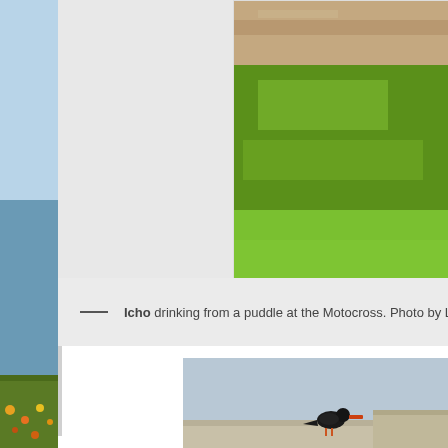[Figure (photo): Partial view of a coastal landscape photo on the left sidebar showing blue sky, ocean water, and colorful ground vegetation]
[Figure (photo): Top photo showing a grassy/wetland area with sandy/earthy tones in the background and lush green grass in the foreground, partially cropped]
— Icho drinking from a puddle at the Motocross. Photo by Liz Co
[Figure (photo): Bottom photo showing a black bird (appears to be an oystercatcher or similar species) standing on a concrete ledge against a light blue sky background]